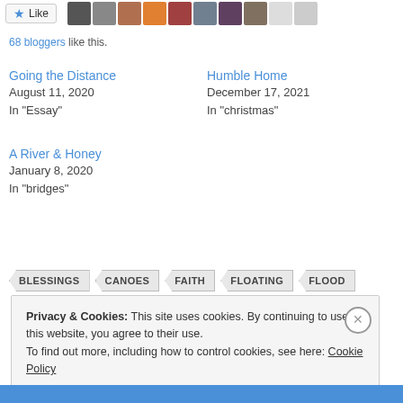[Figure (other): Like button with star icon and row of blogger avatar thumbnails]
68 bloggers like this.
Going the Distance
August 11, 2020
In "Essay"
Humble Home
December 17, 2021
In "christmas"
A River & Honey
January 8, 2020
In "bridges"
BLESSINGS
CANOES
FAITH
FLOATING
FLOOD
Privacy & Cookies: This site uses cookies. By continuing to use this website, you agree to their use.
To find out more, including how to control cookies, see here: Cookie Policy
Close and accept